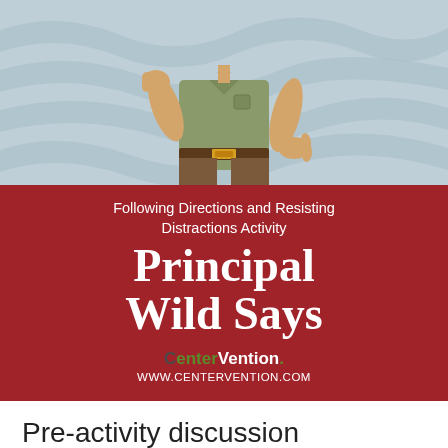[Figure (illustration): Cartoon illustration of a principal character wearing a khaki shirt, red bow tie, and brown belt with gold buckle, pointing with one hand and gesturing with the other, against a light blue zebra-stripe background.]
Following Directions and Resisting Distractions Activity
Principal Wild Says
CenterVention. WWW.CENTERVENTION.COM
Pre-activity discussion
Talk with your students about it is important for everyone to pay attention